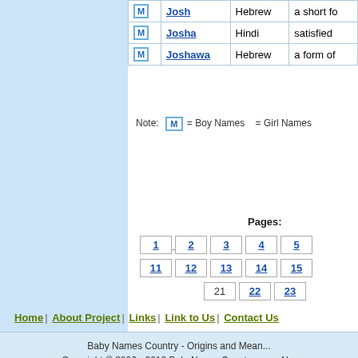|  | Name | Origin | Meaning |
| --- | --- | --- | --- |
| M | Josh | Hebrew | a short fo |
| M | Josha | Hindi | satisfied |
| M | Joshawa | Hebrew | a form of |
Note: M = Boy Names = Girl Names
Pages:
1 2 3 4 5
11 12 13 14 15
21 22 23
Home | About Project | Links | Link to Us | Contact Us
Baby Names Country - Origins and Mean... Copyright © 2006 - 2012 BabyNamesCountry.com. Al...